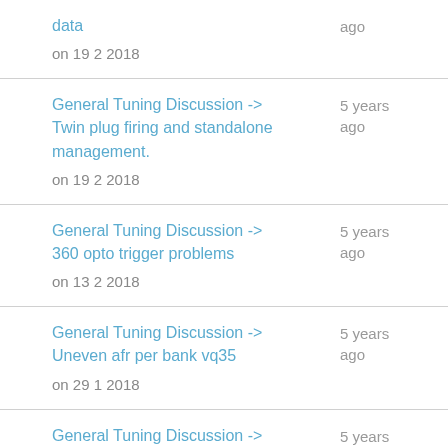data
on 19 2 2018 | ago
General Tuning Discussion -> Twin plug firing and standalone management.
on 19 2 2018 | 5 years ago
General Tuning Discussion -> 360 opto trigger problems
on 13 2 2018 | 5 years ago
General Tuning Discussion -> Uneven afr per bank vq35
on 29 1 2018 | 5 years ago
General Tuning Discussion -> inacurate ignition timing on | 5 years